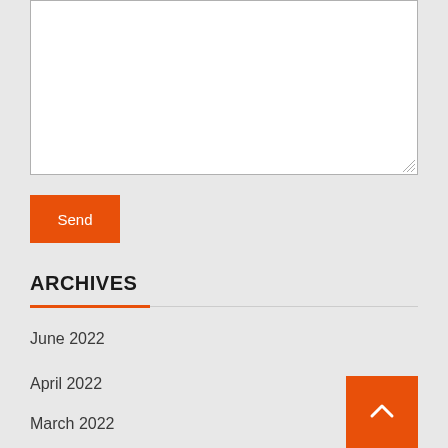[Figure (screenshot): White textarea input box with resize handle at bottom right]
Send
ARCHIVES
June 2022
April 2022
March 2022